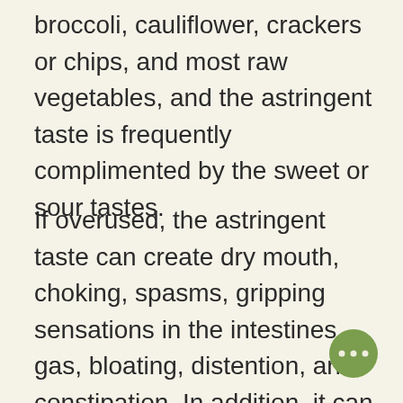broccoli, cauliflower, crackers or chips, and most raw vegetables, and the astringent taste is frequently complimented by the sweet or sour tastes.
If overused, the astringent taste can create dry mouth, choking, spasms, gripping sensations in the intestines, gas, bloating, distention, and constipation. In addition, it can also smoother the digestive fire, cause thirst stiffness, coagulation, and clotting in the blood, stagnation
[Figure (other): A circular green button with three horizontal dots (ellipsis) in the lower right corner of the page.]